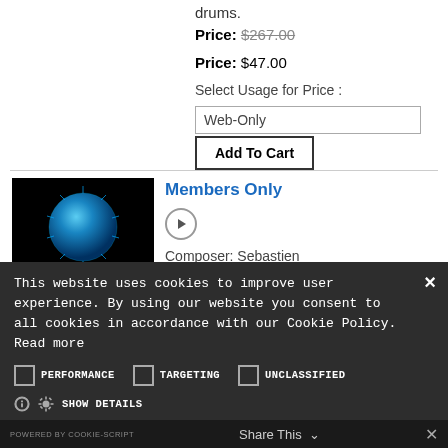drums.
Price: $267.00 (strikethrough)
Price: $47.00
Select Usage for Price :
Web-Only
Add To Cart
Members Only
[Figure (illustration): Blue glowing sphere/virus-like object on black background]
Composer: Sebastien
This website uses cookies to improve user experience. By using our website you consent to all cookies in accordance with our Cookie Policy. Read more
PERFORMANCE
TARGETING
UNCLASSIFIED
SHOW DETAILS
ACCEPT ALL
DECLINE ALL
POWERED BY COOKIE-SCRIPT    Share This ∨    ✕